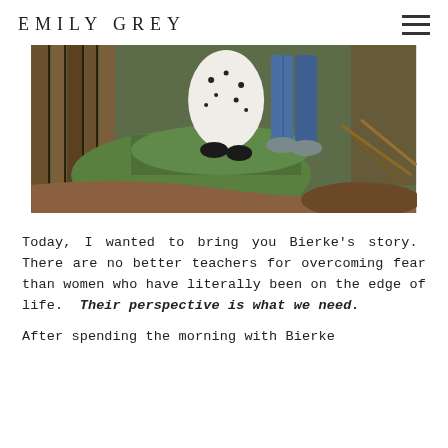EMILY GREY
[Figure (photo): Outdoor photo showing two people standing near a wooden fence/structure on a grassy and dirt path. Only the lower halves of their bodies are visible — one wearing a floral dress with dark shoes, the other wearing jeans and gray shoes. Green grass and red-brown dirt are visible.]
Today, I wanted to bring you Bierke's story.  There are no better teachers for overcoming fear than women who have literally been on the edge of life.  Their perspective is what we need.
After spending the morning with Bierke